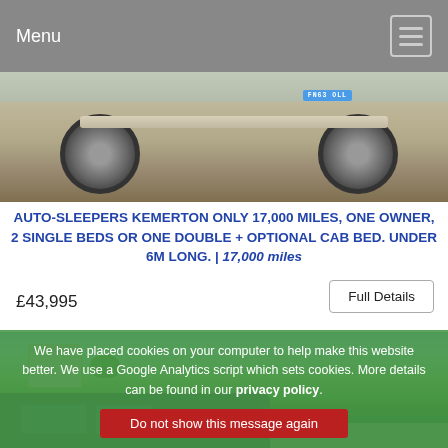Menu
[Figure (photo): Bottom portion of a motorhome/campervan with registration plate FN63OLL visible, parked on tarmac, showing rear undercarriage and wheels]
AUTO-SLEEPERS KEMERTON ONLY 17,000 MILES, ONE OWNER, 2 SINGLE BEDS OR ONE DOUBLE + OPTIONAL CAB BED. UNDER 6M LONG. | 17,000 miles
£43,995
Full Details
[Figure (photo): A blue campervan/motorhome photographed outdoors on a green field with a country house in the background and blue sky with clouds]
We have placed cookies on your computer to help make this website better. We use a Google Analytics script which sets cookies. More details can be found in our privacy policy.
Do not show this message again